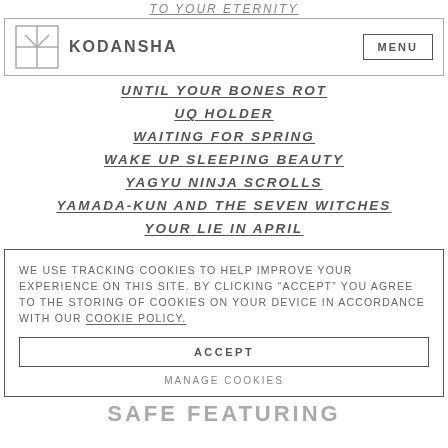TO YOUR ETERNITY
[Figure (logo): Kodansha logo with navigation bar including MENU button]
UNTIL YOUR BONES ROT
UQ HOLDER
WAITING FOR SPRING
WAKE UP SLEEPING BEAUTY
YAGYU NINJA SCROLLS
YAMADA-KUN AND THE SEVEN WITCHES
YOUR LIE IN APRIL
WE USE TRACKING COOKIES TO HELP IMPROVE YOUR EXPERIENCE ON THIS SITE. BY CLICKING “ACCEPT” YOU AGREE TO THE STORING OF COOKIES ON YOUR DEVICE IN ACCORDANCE WITH OUR COOKIE POLICY.
ACCEPT
MANAGE COOKIES
SAFE FEATURING